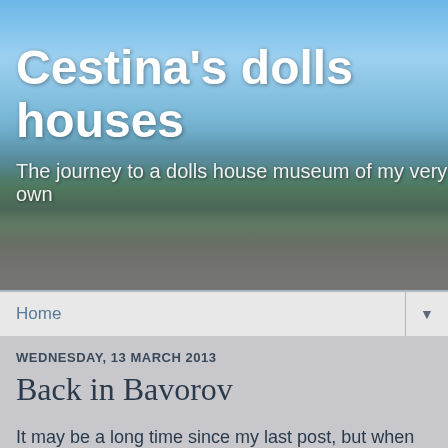[Figure (photo): Blog header banner with a road stretching into the distance, blue sky with clouds, and green trees on either side. White text overlay shows blog title and subtitle.]
Cestina's dolls houses
The journey to a dolls house museum of my very own
Home
WEDNESDAY, 13 MARCH 2013
Back in Bavorov
It may be a long time since my last post, but when we unlocked the museum door on Monday, it seemed hardly any time at all since I locked it and left it in November.
We is me and butterfly, whom many of you know, and we have arrived in the Czech Republic two months before I normally come to prepare the dolls house